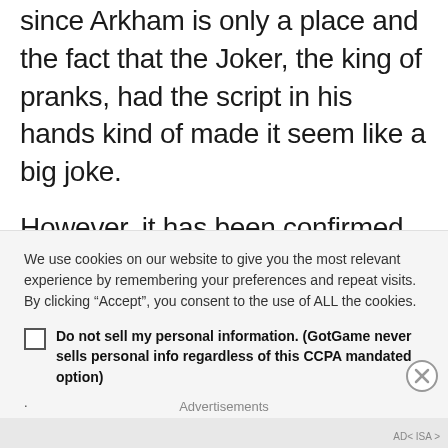since Arkham is only a place and the fact that the Joker, the king of pranks, had the script in his hands kind of made it seem like a big joke.
However, it has been confirmed that the next Batman title will not be called Arkham World as noted by a representative:
We use cookies on our website to give you the most relevant experience by remembering your preferences and repeat visits. By clicking “Accept”, you consent to the use of ALL the cookies.
Do not sell my personal information. (GotGame never sells personal info regardless of this CCPA mandated option)
.
Advertisements